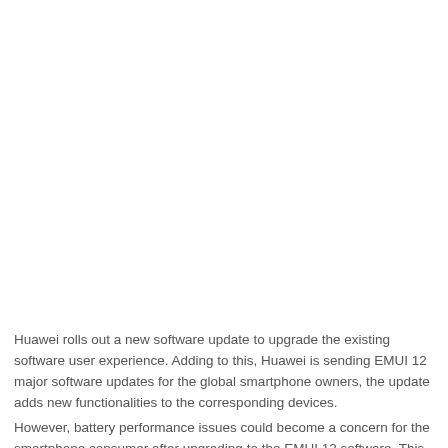Huawei rolls out a new software update to upgrade the existing software user experience. Adding to this, Huawei is sending EMUI 12 major software updates for the global smartphone owners, the update adds new functionalities to the corresponding devices.
However, battery performance issues could become a concern for the smartphone consumer after upgrading to the EMUI 12 software. This